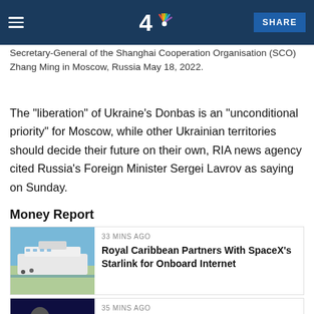NBC News - Channel 4
Secretary-General of the Shanghai Cooperation Organisation (SCO) Zhang Ming in Moscow, Russia May 18, 2022.
The "liberation" of Ukraine's Donbas is an "unconditional priority" for Moscow, while other Ukrainian territories should decide their future on their own, RIA news agency cited Russia's Foreign Minister Sergei Lavrov as saying on Sunday.
Money Report
33 MINS AGO
Royal Caribbean Partners With SpaceX's Starlink for Onboard Internet
35 MINS AGO
Snap Will Lay Off 20% of Staff, Report Says